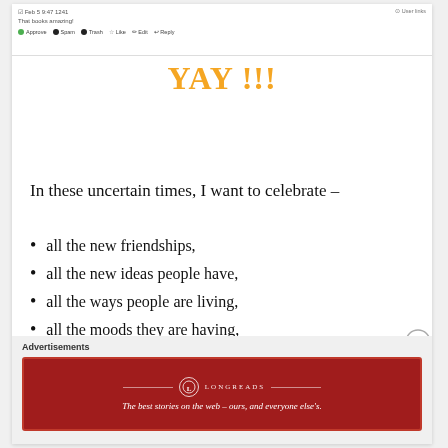[Figure (screenshot): WordPress-style comment/post toolbar with action buttons: Approve, Spam, Trash, Like, Edit, Reply]
YAY !!!
In these uncertain times, I want to celebrate –
all the new friendships,
all the new ideas people have,
all the ways people are living,
all the moods they are having,
all the experiences they are having,
Advertisements
[Figure (logo): Longreads advertisement banner: red background with Longreads logo and tagline 'The best stories on the web – ours, and everyone else's.']